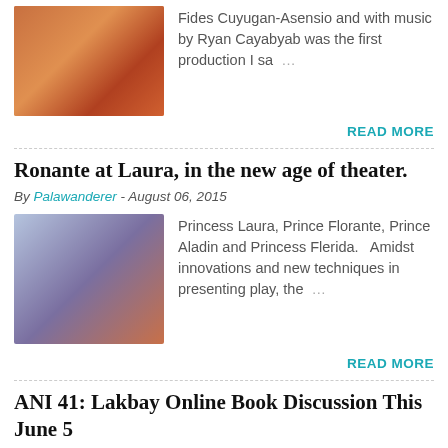Fides Cuyugan-Asensio and with music by Ryan Cayabyab was the first production I sa …
READ MORE
Ronante at Laura, in the new age of theater.
By Palawanderer - August 06, 2015
[Figure (photo): Cast photo of Florante at Laura stage production with costumed performers]
Princess Laura, Prince Florante, Prince Aladin and Princess Flerida.  Amidst innovations and new techniques in presenting play, the …
READ MORE
ANI 41: Lakbay Online Book Discussion This June 5
By Palawanderer - May 28, 2021
[Figure (photo): Thumbnail image partially visible at bottom of page]